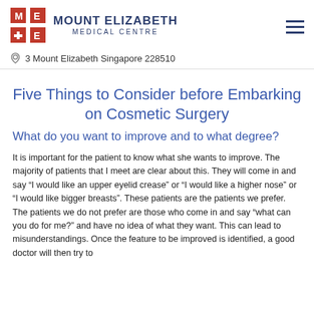MOUNT ELIZABETH MEDICAL CENTRE
3 Mount Elizabeth Singapore 228510
Five Things to Consider before Embarking on Cosmetic Surgery
What do you want to improve and to what degree?
It is important for the patient to know what she wants to improve. The majority of patients that I meet are clear about this. They will come in and say “I would like an upper eyelid crease” or “I would like a higher nose” or “I would like bigger breasts”. These patients are the patients we prefer. The patients we do not prefer are those who come in and say “what can you do for me?” and have no idea of what they want. This can lead to misunderstandings. Once the feature to be improved is identified, a good doctor will then try to